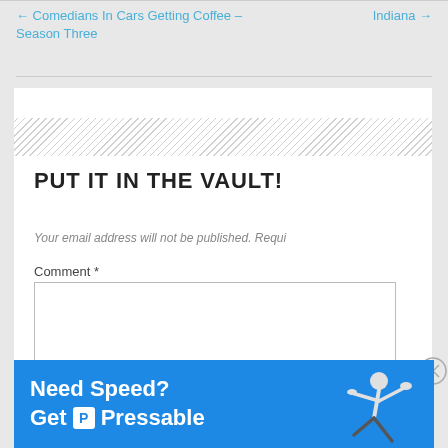← Comedians In Cars Getting Coffee – Season Three
Indiana →
PUT IT IN THE VAULT!
Your email address will not be published. Requi
Comment *
Advertisements
[Figure (infographic): Blue advertisement banner reading 'Need Speed? Get P Pressable' with a person figure on the right side]